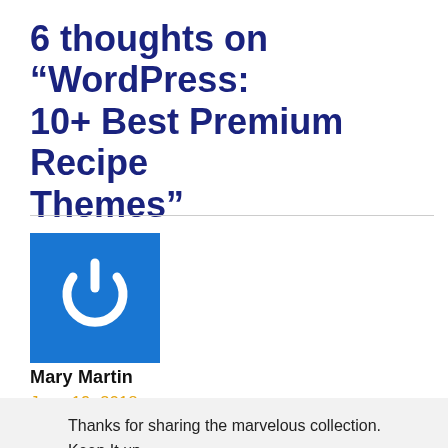6 thoughts on “WordPress: 10+ Best Premium Recipe Themes”
[Figure (illustration): Blue square avatar icon with white power button symbol]
Mary Martin
June 19, 2018
Thanks for sharing the marvelous collection. Keep It up.